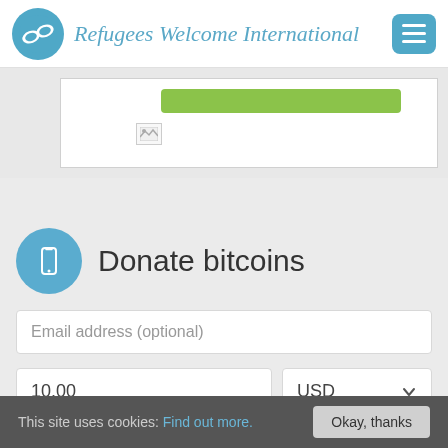Refugees Welcome International
[Figure (screenshot): Partially visible web page section with a green button and a broken image placeholder inside a white box on a gray background]
Donate bitcoins
Email address (optional)
10.00
USD
SUBMIT
This site uses cookies: Find out more.
Okay, thanks